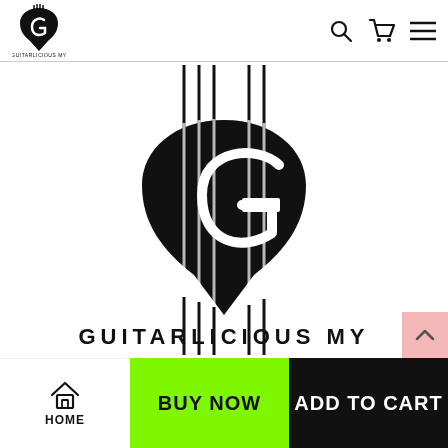[Figure (logo): Guitarlicious MY logo in header - guitar pick shape with G letter]
[Figure (logo): Large Guitarlicious MY logo - black guitar pick shape with G letter and guitar strings, with text GUITARLICIOUS MY below]
BUY NOW
ADD TO CART
HOME